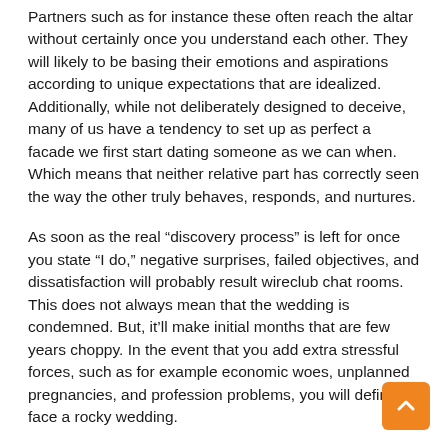Partners such as for instance these often reach the altar without certainly once you understand each other. They will likely to be basing their emotions and aspirations according to unique expectations that are idealized. Additionally, while not deliberately designed to deceive, many of us have a tendency to set up as perfect a facade we first start dating someone as we can when. Which means that neither relative part has correctly seen the way the other truly behaves, responds, and nurtures.
As soon as the real “discovery process” is left for once you state “I do,” negative surprises, failed objectives, and dissatisfaction will probably result wireclub chat rooms. This does not always mean that the wedding is condemned. But, it’ll make initial months that are few years choppy. In the event that you add extra stressful forces, such as for example economic woes, unplanned pregnancies, and profession problems, you will definitely face a rocky wedding.
Those who are able to endure the rocky stage may turn out more powerful on the other hand. Unfortuitously, only a few have the ability to emerge using this tunnel that is challenging. A few of the marriages that start off on a whim shall end up smashed from the